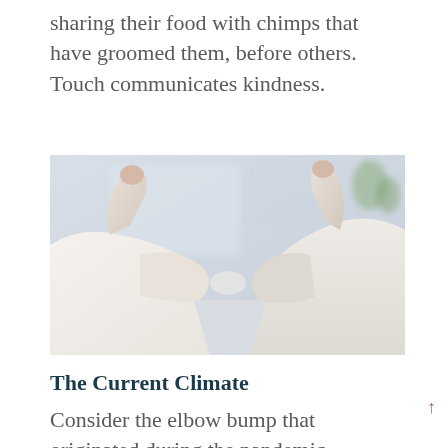sharing their food with chimps that have groomed them, before others. Touch communicates kindness.
[Figure (photo): Two people in white shirts bumping elbows, photographed from behind, with a soft blurred background.]
The Current Climate
Consider the elbow bump that originated during the pandemic